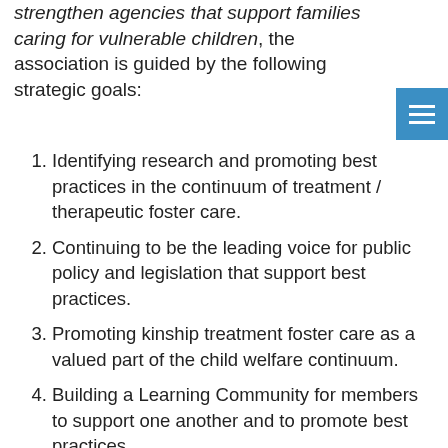strengthen agencies that support families caring for vulnerable children, the association is guided by the following strategic goals:
Identifying research and promoting best practices in the continuum of treatment / therapeutic foster care.
Continuing to be the leading voice for public policy and legislation that support best practices.
Promoting kinship treatment foster care as a valued part of the child welfare continuum.
Building a Learning Community for members to support one another and to promote best practices.